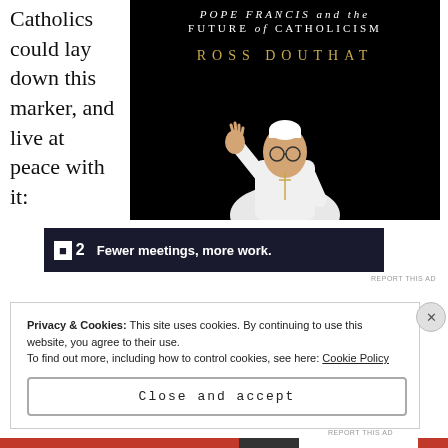Catholics could lay down this marker, and live at peace with it:
[Figure (photo): Book cover for 'Pope Francis and the Future of Catholicism' by Ross Douthat. Black background with white text title and gold author name, with a photo of Pope Francis in white vestments waving.]
[Figure (screenshot): Advertisement banner: dark background with logo '■2' and text 'Fewer meetings, more work.']
REPORT THIS AD
Privacy & Cookies: This site uses cookies. By continuing to use this website, you agree to their use.
To find out more, including how to control cookies, see here: Cookie Policy
Close and accept